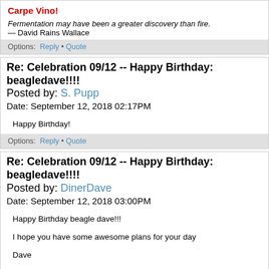Carpe Vino!
Fermentation may have been a greater discovery than fire.
— David Rains Wallace
Options: Reply • Quote
Re: Celebration 09/12 -- Happy Birthday: beagledave!!!!
Posted by: S. Pupp
Date: September 12, 2018 02:17PM
Happy Birthday!
Options: Reply • Quote
Re: Celebration 09/12 -- Happy Birthday: beagledave!!!!
Posted by: DinerDave
Date: September 12, 2018 03:00PM
Happy Birthday beagle dave!!!

I hope you have some awesome plans for your day

Dave
Welcome to Dave's BBQ!

Many have eaten here.